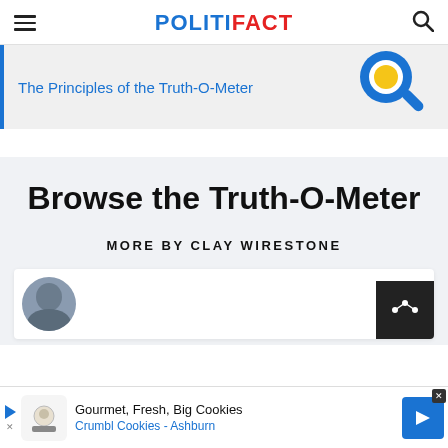POLITIFACT
The Principles of the Truth-O-Meter
Browse the Truth-O-Meter
MORE BY CLAY WIRESTONE
[Figure (advertisement): Advertisement banner: Gourmet, Fresh, Big Cookies - Crumbl Cookies - Ashburn with cookie logo and blue arrow icon]